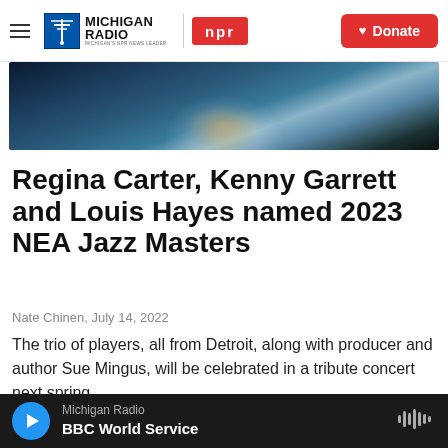Michigan Radio · NPR · Donate
[Figure (photo): Partial cropped photo of a performer in a bejeweled/sparkly costume, dark background with teal/blue tones]
Regina Carter, Kenny Garrett and Louis Hayes named 2023 NEA Jazz Masters
Nate Chinen, July 14, 2022
The trio of players, all from Detroit, along with producer and author Sue Mingus, will be celebrated in a tribute concert next spring.
[Figure (photo): Partial bottom image strip, dark blue/purple tones]
Michigan Radio · BBC World Service